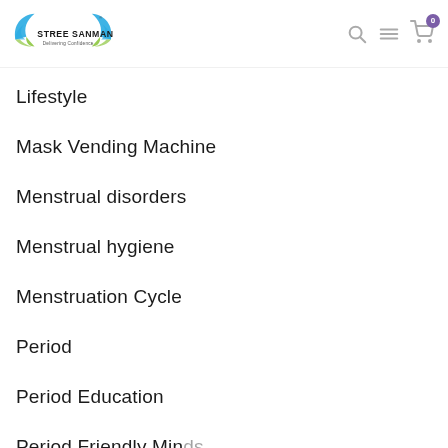[Figure (logo): Stree Sanman logo with wings and tagline 'Delivering Confidence']
Lifestyle
Mask Vending Machine
Menstrual disorders
Menstrual hygiene
Menstruation Cycle
Period
Period Education
Period Friendly Minds